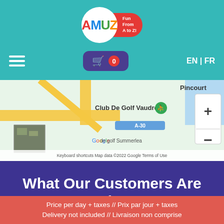[Figure (logo): AMUZ logo with colorful letters in a white circle and red blob with 'Fun From A to Z!' text]
[Figure (screenshot): Google Maps showing Club De Golf Vaudreuil area near Pincourt, with roads, map controls (+/-), and footer text: Keyboard shortcuts | Map data ©2022 Google | Terms of Use]
What Our Customers Are Saying...
Joel A.
Price per day + taxes // Prix par jour + taxes
Delivery not included // Livraison non comprise